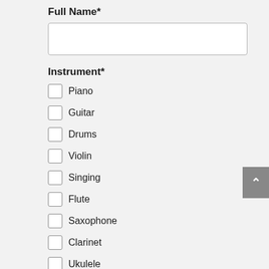Full Name*
Instrument*
Piano
Guitar
Drums
Violin
Singing
Flute
Saxophone
Clarinet
Ukulele
Bass Guitar